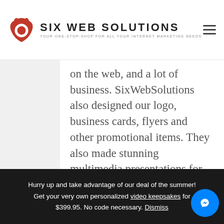SIX WEB SOLUTIONS — YOUR ONE-STOP-SHOP FOR ALL YOUR INTERNET MARKETING NEEDS
on the web, and a lot of business. SixWebSolutions also designed our logo, business cards, flyers and other promotional items. They also made stunning multimedia presentations for me. I could not be more
Hurry up and take advantage of our deal of the summer! Get your very own personalized video keepsakes for $399.95. No code necessary. Dismiss